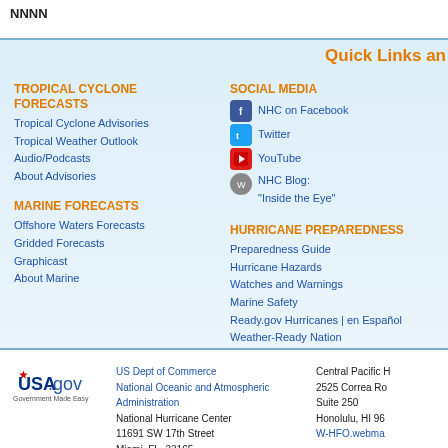NNNN
Quick Links an
TROPICAL CYCLONE FORECASTS
Tropical Cyclone Advisories
Tropical Weather Outlook
Audio/Podcasts
About Advisories
MARINE FORECASTS
Offshore Waters Forecasts
Gridded Forecasts
Graphicast
About Marine
SOCIAL MEDIA
NHC on Facebook
Twitter
YouTube
NHC Blog: "Inside the Eye"
HURRICANE PREPAREDNESS
Preparedness Guide
Hurricane Hazards
Watches and Warnings
Marine Safety
Ready.gov Hurricanes | en Español
Weather-Ready Nation
Emergency Management Offices
US Dept of Commerce
National Oceanic and Atmospheric Administration
National Hurricane Center
11691 SW 17th Street
Miami, FL, 33165
nhcwebmaster@noaa.gov
Central Pacific H
2525 Correa Ro
Suite 250
Honolulu, HI 96
W-HFO.webma